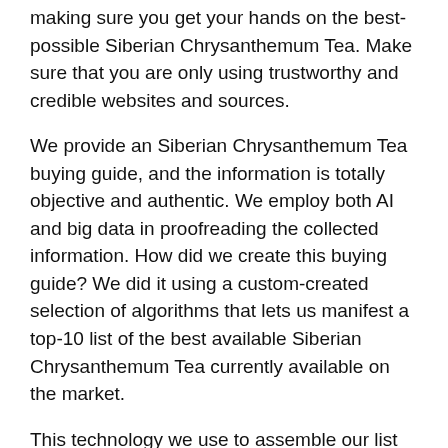making sure you get your hands on the best-possible Siberian Chrysanthemum Tea. Make sure that you are only using trustworthy and credible websites and sources.
We provide an Siberian Chrysanthemum Tea buying guide, and the information is totally objective and authentic. We employ both AI and big data in proofreading the collected information. How did we create this buying guide? We did it using a custom-created selection of algorithms that lets us manifest a top-10 list of the best available Siberian Chrysanthemum Tea currently available on the market.
This technology we use to assemble our list depends on a variety of factors, including but not limited to the following:
Brand Value: Every brand of Siberian